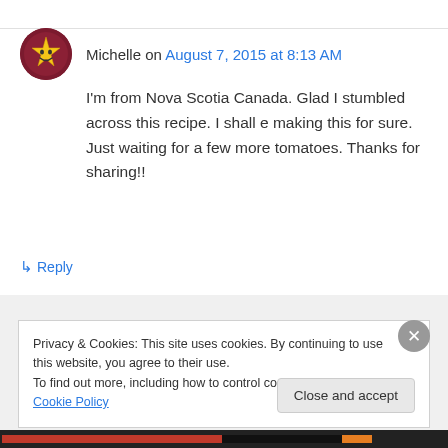Michelle on August 7, 2015 at 8:13 AM
I'm from Nova Scotia Canada. Glad I stumbled across this recipe. I shall e making this for sure. Just waiting for a few more tomatoes. Thanks for sharing!!
↳ Reply
Privacy & Cookies: This site uses cookies. By continuing to use this website, you agree to their use.
To find out more, including how to control cookies, see here: Cookie Policy
Close and accept